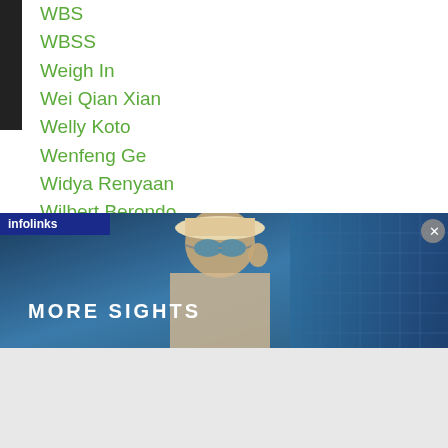WBS
WBSS
Weigh In
Wei Qian Xian
Welly Koto
Wenfeng Ge
Widya Renyaan
Wilbert Berondo
Willem Papilaya
Wittawas Basapean
Wolf Nakano
Woo Hyun Kim
Woo Min Won
Worapoj Petchkoom
Work Out
...oint
[Figure (advertisement): Infolinks advertisement banner showing a woman wearing sunglasses with text MORE SIGHTS]